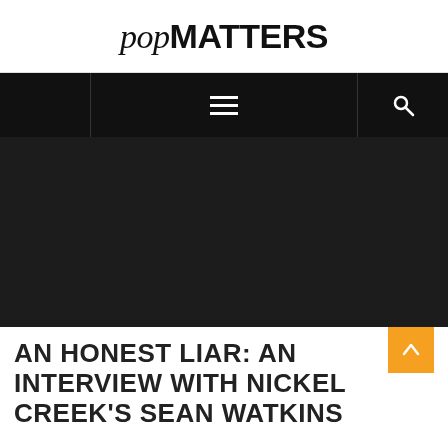popMATTERS
[Figure (screenshot): Navigation bar with hamburger menu and search icon on black background]
[Figure (photo): Dark/black hero image placeholder]
AN HONEST LIAR: AN INTERVIEW WITH NICKEL CREEK'S SEAN WATKINS